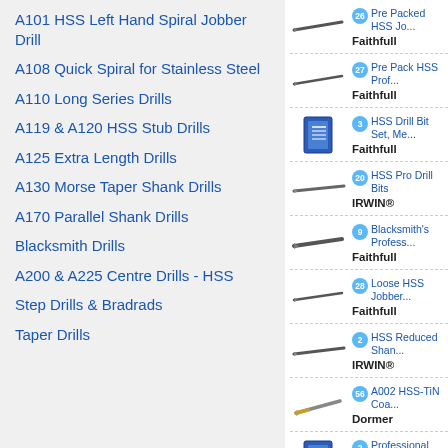A101 HSS Left Hand Spiral Jobber Drill
A108 Quick Spiral for Stainless Steel
A110 Long Series Drills
A119 & A120 HSS Stub Drills
A125 Extra Length Drills
A130 Morse Taper Shank Drills
A170 Parallel Shank Drills
Blacksmith Drills
A200 & A225 Centre Drills - HSS
Step Drills & Bradrads
Taper Drills
26 Pre Packed HSS Jo... Faithfull
27 Pre Pack HSS Prof... Faithfull
3 HSS Drill Bit Set, Me... Faithfull
20 HSS Pro Drill Bits IRWIN®
9 Blacksmith's Profess... Faithfull
28 Loose HSS Jobber... Faithfull
2 HSS Reduced Shan... IRWIN®
56 A002 HSS-TiN Coa... Dormer
2 Professional HSS Dr... Faithfull
4 Step Drill Bit